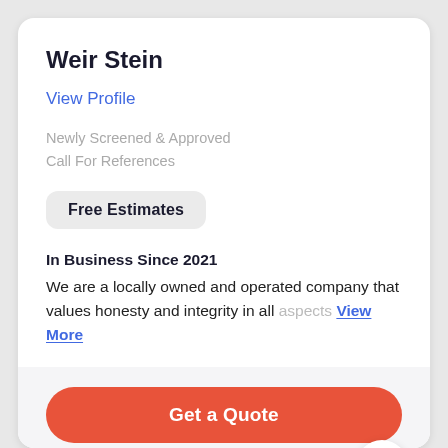Weir Stein
View Profile
Newly Screened & Approved
Call For References
Free Estimates
In Business Since 2021
We are a locally owned and operated company that values honesty and integrity in all aspects View More
Get a Quote
Call Business